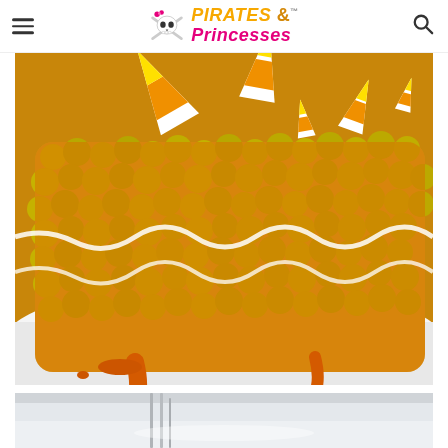Pirates & Princesses
[Figure (photo): Close-up of candy corn rice crispy treats on a white plate, topped with candy corn pieces and drizzled with orange and white icing/glaze.]
[Figure (photo): Partial view of a second food photo, showing what appears to be a white plate or surface with some thin sticks or items, background slightly blurred.]